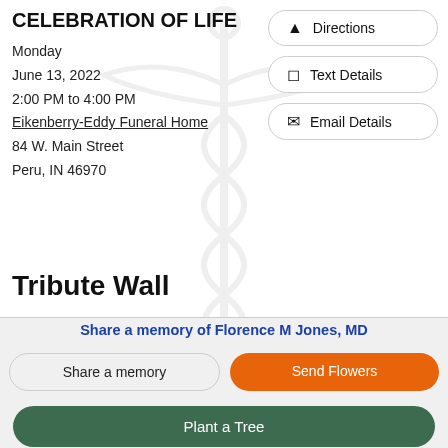CELEBRATION OF LIFE
Monday
June 13, 2022
2:00 PM to 4:00 PM
Eikenberry-Eddy Funeral Home
84 W. Main Street
Peru, IN 46970
[Figure (illustration): Caduceus medical symbol watermark in light gray]
Directions
Text Details
Email Details
Tribute Wall
Share a memory of Florence M Jones, MD
Share a memory
Send Flowers
Plant a Tree